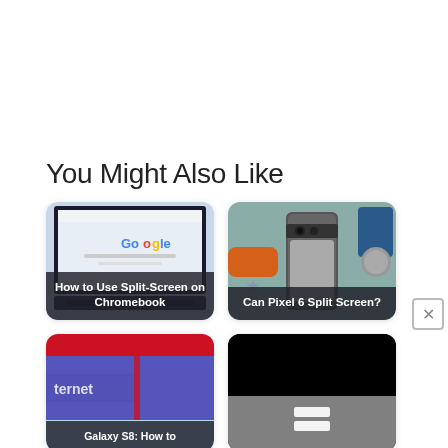You Might Also Like
[Figure (screenshot): Card with Chromebook screenshot showing Google homepage, captioned 'How to Use Split-Screen on Chromebook']
[Figure (screenshot): Card with photo of Pixel 6 phone on a flat surface with various objects, captioned 'Can Pixel 6 Split Screen?']
[Figure (screenshot): Card partially visible, showing colorful internet-related graphic, captioned 'Galaxy S8: How to']
[Figure (screenshot): Card with mostly black top area and dark gray bottom with white icon shapes]